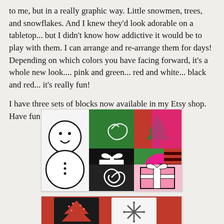to me, but in a really graphic way.  Little snowmen, trees, and snowflakes.  And I knew they'd look adorable on a tabletop... but I didn't know how addictive it would be to play with them.  I can arrange and re-arrange them for days!  Depending on which colors you have facing forward, it's a whole new look.... pink and green... red and white... black and red... it's really fun!

I have three sets of blocks now available in my Etsy shop.  Have fun!
[Figure (photo): Colorful holiday-themed decorated wooden blocks showing snowmen, gift boxes with ribbons, trees, and swirl patterns in black, white, pink, green, and red colors arranged on a tabletop.]
[Figure (photo): Second photo partially visible at bottom showing holiday blocks on a red background, with decorative patterns visible.]